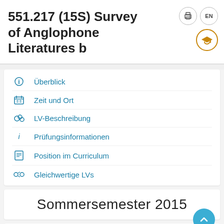551.217 (15S) Survey of Anglophone Literatures b
Überblick
Zeit und Ort
LV-Beschreibung
Prüfungsinformationen
Position im Curriculum
Gleichwertige LVs
Sommersemester 2015
Anmeldefrist abgelaufen.